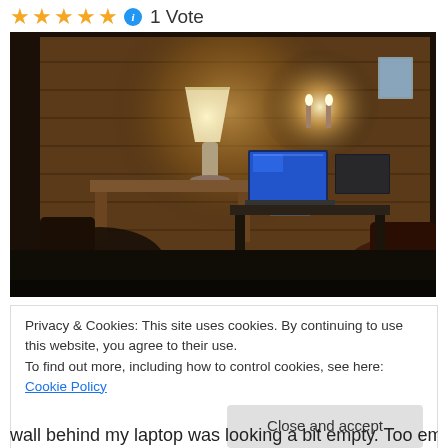★★★★★ ℹ 1 Vote
[Figure (photo): Dark room with wooden plank walls. A desk with a lamp (lit, warm glow), a computer monitor with blue screen, and a laptop. Sconce lights on the wall glowing. Chairs visible on left and right foreground.]
Privacy & Cookies: This site uses cookies. By continuing to use this website, you agree to their use.
To find out more, including how to control cookies, see here: Cookie Policy
Close and accept
wall behind my laptop was looking a bit empty. Too empty